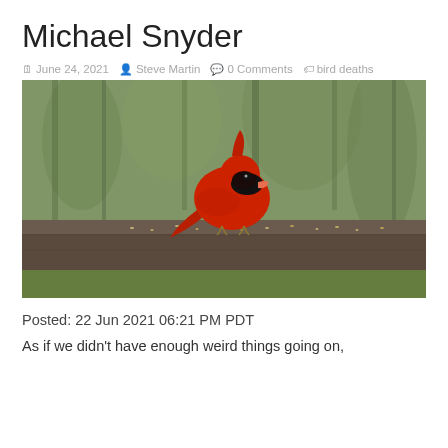Michael Snyder
June 24, 2021  Steve Martin  0 Comments  bird deaths
[Figure (photo): A bright red male Northern Cardinal perched on a wooden railing covered with birdseed, with a blurred green wooded background.]
Posted: 22 Jun 2021 06:21 PM PDT
As if we didn't have enough weird things going on,